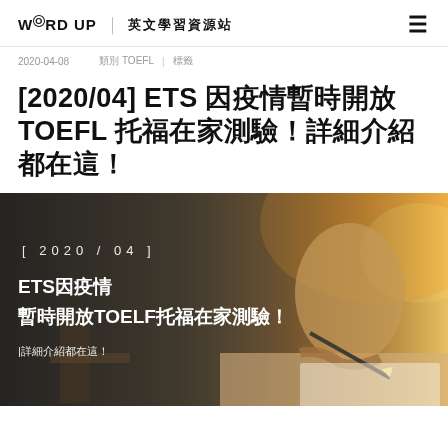WORD UP｜英文學習資源站
2020-04-08    類別 TOEFL | 標籤
[2020/04] ETS 因疫情暫時開放 TOEFL 托福在家測驗！詳細介紹都在這！
[Figure (photo): Banner image with text overlay: [2020/04] ETS因疫情暫時開放TOELF托福在家測驗！|詳細介紹都在這！ — showing a student writing at a desk, warm toned background.]